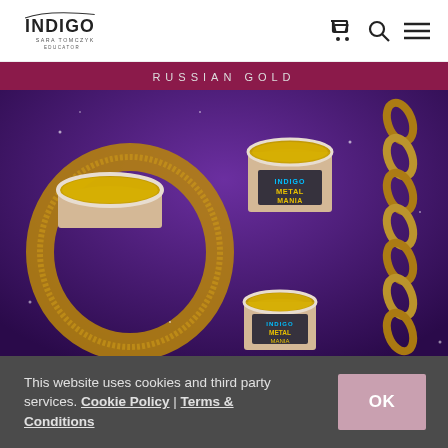INDIGO Sara Tomczyk Educator
[Figure (photo): Product photo showing Indigo Metal Mania 'Russian Gold' nail gel products in small round containers with open lids displaying gold glitter/metallic powder, arranged on a purple background with gold chain jewelry. Text overlay reads 'RUSSIAN GOLD' on a magenta banner at the top.]
This website uses cookies and third party services. Cookie Policy | Terms & Conditions